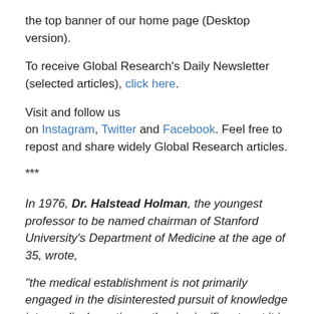the top banner of our home page (Desktop version).
To receive Global Research's Daily Newsletter (selected articles), click here.
Visit and follow us on Instagram, Twitter and Facebook. Feel free to repost and share widely Global Research articles.
***
In 1976, Dr. Halstead Holman, the youngest professor to be named chairman of Stanford University's Department of Medicine at the age of 35, wrote,
“the medical establishment is not primarily engaged in the disinterested pursuit of knowledge into medical practice; rather in significant part it is engaged in special interest